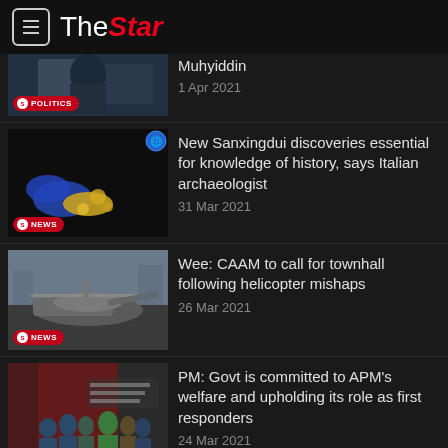The Star
[Figure (photo): News thumbnail with POLITICS badge - top item partially visible, Muhyiddin article]
Muhyiddin
1 Apr 2021
[Figure (photo): Blue-gloved hands examining gold/yellow artifacts - Sanxingdui discoveries]
New Sanxingdui discoveries essential for knowledge of history, says Italian archaeologist
31 Mar 2021
[Figure (photo): Crashed helicopter on airport tarmac]
Wee: CAAM to call for townhall following helicopter mishaps
26 Mar 2021
[Figure (photo): Group of people in uniform at official event - APM welfare article]
PM: Govt is committed to APM's welfare and upholding its role as first responders
24 Mar 2021
[Figure (photo): People in masks outdoors - crocodile article partially visible]
Croc spotted in family pond captured